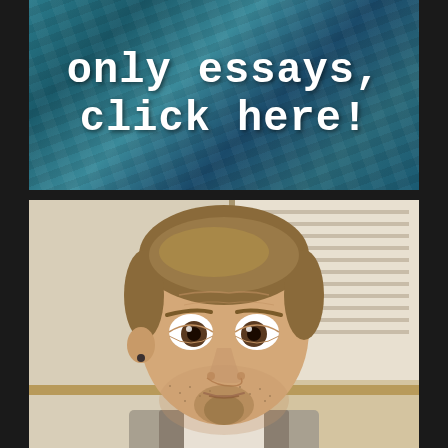[Figure (photo): Top banner with teal/dark blue water-like textured background and white typewriter-font text partially visible reading 'only essays, click here!']
[Figure (photo): A selfie-style photo of a Caucasian man with short brown/blonde hair, stubble beard, wearing a grey vest over a light shirt with a tie, making a wide-eyed expression. Background shows window blinds and a plant.]